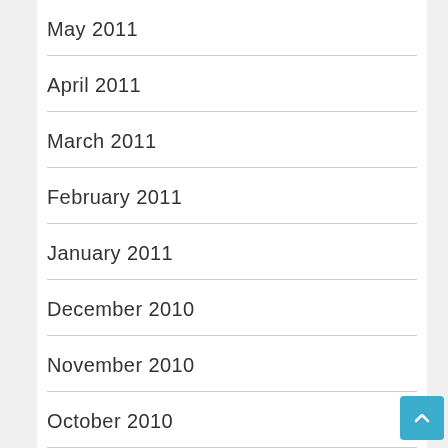May 2011
April 2011
March 2011
February 2011
January 2011
December 2010
November 2010
October 2010
September 2010